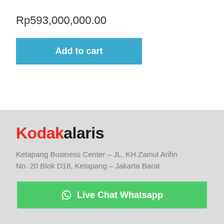Rp593,000,000.00
Add to cart
[Figure (logo): Kodakalaris logo with Kodak in red and alaris in black bold text]
Ketapang Business Center – JL. KH.Zainul Arifin No. 20 Blok D18, Ketapang – Jakarta Barat
Live Chat Whatsapp